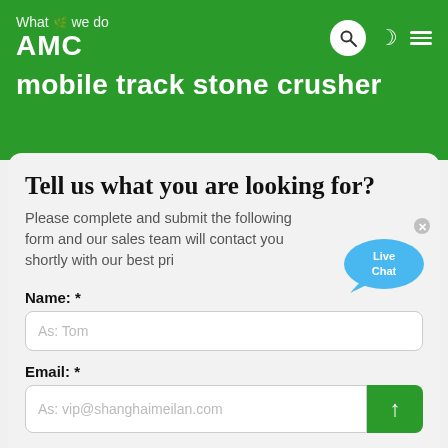What we do
AMC
mobile track stone crusher
Tell us what you are looking for?
Please complete and submit the following form and our sales team will contact you shortly with our best pri
[Figure (illustration): Live Chat speech bubble widget with blue color and close (x) button]
Name: *
As: Tom
Email: *
As: vip@shanghaimeilan.com
Phone: *
With Country Code
The Location of the Project: